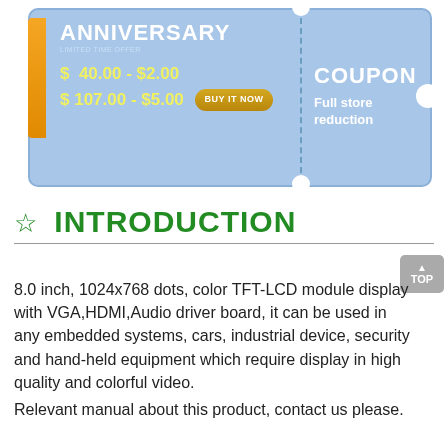[Figure (infographic): Anniversary coupon with blue background, orange ribbon on left, left side shows ANNIVERSARY LIMITED TIME OFFER with prices $ 40.00 - $2.00 and $ 107.00 - $5.00 and a BUY IT NOW button, right side shows COUPON Full store reduction with a notch on the right edge]
☆ INTRODUCTION
8.0 inch, 1024x768 dots, color TFT-LCD module display with VGA,HDMI,Audio driver board, it can be used in any embedded systems, cars, industrial device, security and hand-held equipment which require display in high quality and colorful video.
Relevant manual about this product, contact us please.